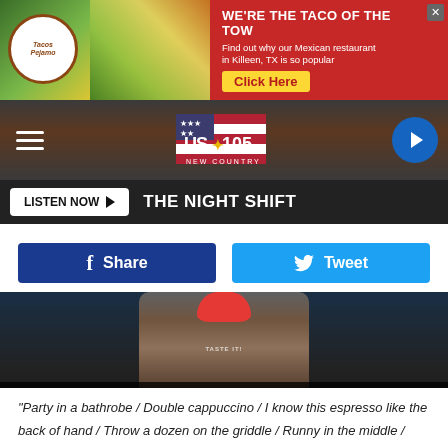[Figure (screenshot): Advertisement banner for Tacos Pejamo Mexican restaurant with taco image on left and red background on right saying WE'RE THE TACO OF THE TOWN, Find out why our Mexican restaurant in Killeen, TX is so popular, Click Here]
[Figure (logo): US 105 New Country radio station logo with American flag design]
LISTEN NOW ▶  THE NIGHT SHIFT
[Figure (screenshot): Facebook Share button (dark blue) and Twitter Tweet button (light blue)]
[Figure (screenshot): Video thumbnail showing a person in plaid shirt wearing apron with COUNTRY CONFESSIONS text overlay, blue country text and white confessions text on dark background. PalaTema credit at bottom.]
Subscribe to KUSJ-FM on YouTube
"Party in a bathrobe / Double cappuccino / I know this espresso like the back of hand / Throw a dozen on the griddle / Runny in the middle / Butter up my toast with some